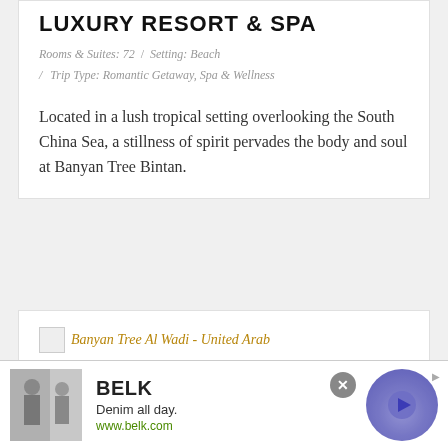LUXURY RESORT & SPA
Rooms & Suites: 72  /  Setting: Beach
/  Trip Type: Romantic Getaway, Spa & Wellness
Located in a lush tropical setting overlooking the South China Sea, a stillness of spirit pervades the body and soul at Banyan Tree Bintan.
[Figure (screenshot): Partial view of a second card showing 'Banyan Tree Al Wadi - United Arab' text with a small thumbnail image placeholder]
[Figure (screenshot): Advertisement banner for BELK showing 'Denim all day.' tagline and www.belk.com URL, with fashion photo, close button, and circular play button]